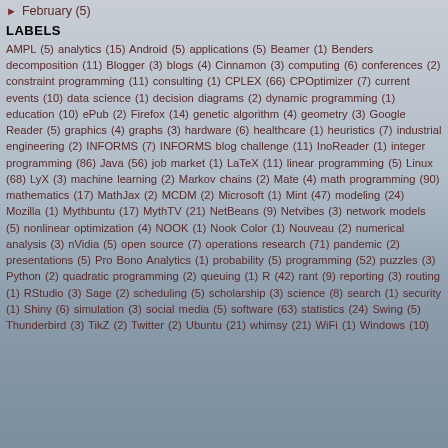February (5)
LABELS
AMPL (5) analytics (15) Android (5) applications (5) Beamer (1) Benders decomposition (11) Blogger (3) blogs (4) Cinnamon (3) computing (6) conferences (2) constraint programming (11) consulting (1) CPLEX (66) CPOptimizer (7) current events (10) data science (1) decision diagrams (2) dynamic programming (1) education (10) ePub (2) Firefox (14) genetic algorithm (4) geometry (3) Google Reader (5) graphics (4) graphs (3) hardware (6) healthcare (1) heuristics (7) industrial engineering (2) INFORMS (7) INFORMS blog challenge (11) InoReader (1) integer programming (86) Java (56) job market (1) LaTeX (11) linear programming (5) Linux (68) LyX (3) machine learning (2) Markov chains (2) Mate (4) math programming (90) mathematics (17) MathJax (2) MCDM (2) Microsoft (1) Mint (47) modeling (24) Mozilla (1) Mythbuntu (17) MythTV (21) NetBeans (9) Netvibes (3) network models (5) nonlinear optimization (4) NOOK (1) Nook Color (1) Nouveau (2) numerical analysis (3) nVidia (5) open source (7) operations research (71) pandemic (2) presentations (5) Pro Bono Analytics (1) probability (5) programming (52) puzzles (3) Python (2) quadratic programming (2) queuing (1) R (42) rant (9) reporting (3) routing (1) RStudio (3) Sage (2) scheduling (5) scholarship (3) science (8) search (1) security (1) Shiny (6) simulation (3) social media (5) software (63) statistics (24) Swing (5) Thunderbird (3) TikZ (2) Twitter (2) Ubuntu (21) whimsy (21) WiFi (1) Windows (10)